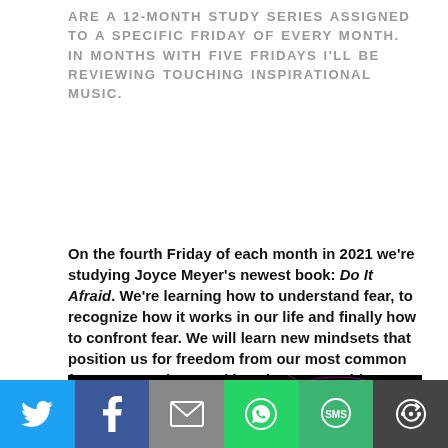ARE A 12-MONTH STUDY SERIES ASSIGNED TO A SPECIFIC FRIDAY OF EVERY MONTH. IN MONTHS WITH FIVE FRIDAYS I'LL BE REVIEWING TOUCHING INSPIRATIONAL MUSIC.
On the fourth Friday of each month in 2021 we're studying Joyce Meyer's newest book: Do It Afraid. We're learning how to understand fear, to recognize how it works in our life and finally how to confront fear. We will learn new mindsets that position us for freedom from our most common fears. Come along and let's learn something new from Momma Joyce! This is the second column in The Do It Afraid Book Study series.
[Figure (photo): Dark background with glowing pink/magenta light streaks or abstract energy lines]
[Figure (infographic): Social media share bar with Twitter (blue), Facebook (dark blue), Email (gray), WhatsApp (green), SMS (green), and More (dark) buttons with white icons]